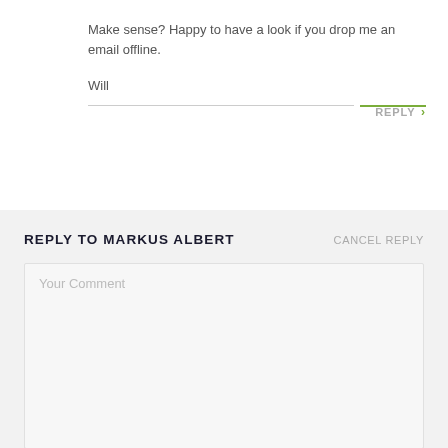Make sense? Happy to have a look if you drop me an email offline.
Will
REPLY >
REPLY TO MARKUS ALBERT
CANCEL REPLY
Your Comment